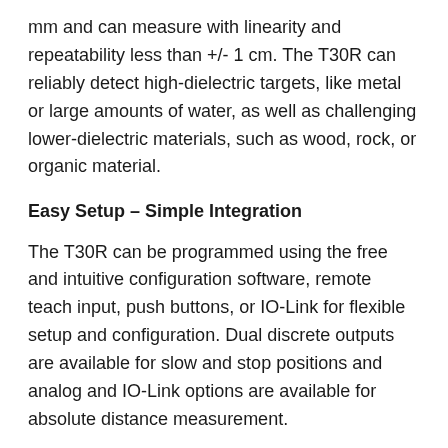mm and can measure with linearity and repeatability less than +/- 1 cm. The T30R can reliably detect high-dielectric targets, like metal or large amounts of water, as well as challenging lower-dielectric materials, such as wood, rock, or organic material.
Easy Setup – Simple Integration
The T30R can be programmed using the free and intuitive configuration software, remote teach input, push buttons, or IO-Link for flexible setup and configuration. Dual discrete outputs are available for slow and stop positions and analog and IO-Link options are available for absolute distance measurement.
The T30R also features Banner's Pulse Pro output